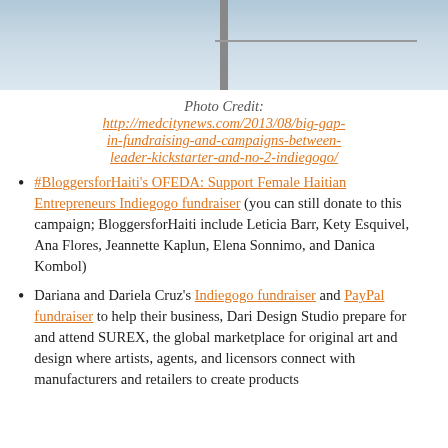[Figure (photo): Cropped photo showing sky with clouds and a pole/mast in the center, gray-blue sky background]
Photo Credit:
http://medcitynews.com/2013/08/big-gap-in-fundraising-and-campaigns-between-leader-kickstarter-and-no-2-indiegogo/
#BloggersforHaiti's OFEDA: Support Female Haitian Entrepreneurs Indiegogo fundraiser (you can still donate to this campaign; BloggersforHaiti include Leticia Barr, Kety Esquivel, Ana Flores, Jeannette Kaplun, Elena Sonnimo, and Danica Kombol)
Dariana and Dariela Cruz's Indiegogo fundraiser and PayPal fundraiser to help their business, Dari Design Studio prepare for and attend SUREX, the global marketplace for original art and design where artists, agents, and licensors connect with manufacturers and retailers to create products